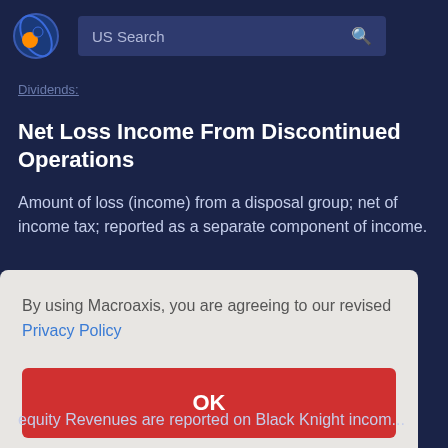US Search
Dividends:
Net Loss Income From Discontinued Operations
Amount of loss (income) from a disposal group; net of income tax; reported as a separate component of income.
By using Macroaxis, you are agreeing to our revised Privacy Policy
OK
...red by ...ing a ...t sales
...equity Revenues are reported on Black Knight incom...